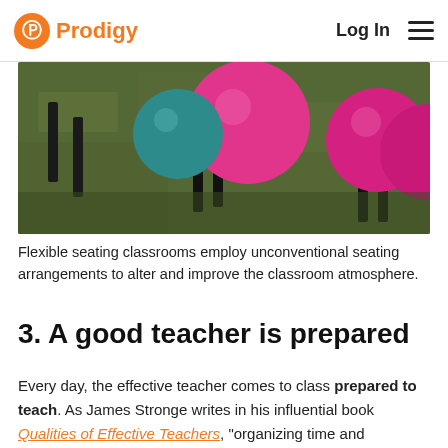Prodigy  Log In
[Figure (photo): Photo of pink and teal exercise/stability balls on a grass surface, used as flexible seating in a classroom setting.]
Flexible seating classrooms employ unconventional seating arrangements to alter and improve the classroom atmosphere.
3. A good teacher is prepared
Every day, the effective teacher comes to class prepared to teach. As James Stronge writes in his influential book Qualities of Effective Teachers, “organizing time and preparing materials in advance of instruction have been noted as [among] the